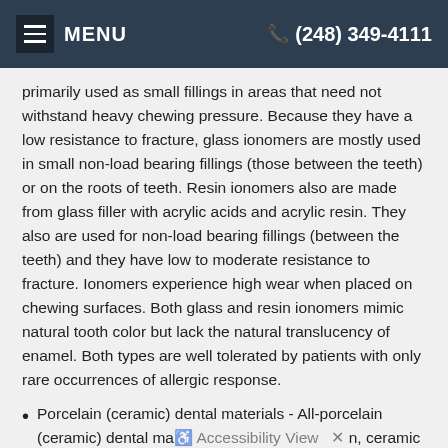MENU  (248) 349-4111
primarily used as small fillings in areas that need not withstand heavy chewing pressure. Because they have a low resistance to fracture, glass ionomers are mostly used in small non-load bearing fillings (those between the teeth) or on the roots of teeth. Resin ionomers also are made from glass filler with acrylic acids and acrylic resin. They also are used for non-load bearing fillings (between the teeth) and they have low to moderate resistance to fracture. Ionomers experience high wear when placed on chewing surfaces. Both glass and resin ionomers mimic natural tooth color but lack the natural translucency of enamel. Both types are well tolerated by patients with only rare occurrences of allergic response.
Porcelain (ceramic) dental materials - All-porcelain (ceramic) dental ma... n, ceramic